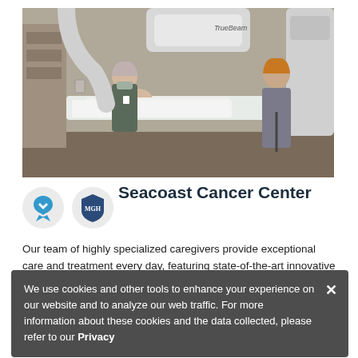[Figure (photo): A medical professional wearing a mask speaks with a patient lying on a radiation therapy table beside a TrueBeam radiotherapy machine in a clinical setting.]
Seacoast Cancer Center
Our team of highly specialized caregivers provide exceptional care and treatment every day, featuring state-of-the-art innovative treatments, and access to trusted expertise at
We use cookies and other tools to enhance your experience on our website and to analyze our web traffic. For more information about these cookies and the data collected, please refer to our Privacy